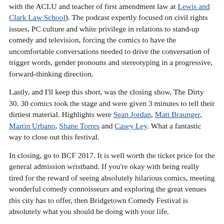with the ACLU and teacher of first amendment law at Lewis and Clark Law School). The podcast expertly focused on civil rights issues, PC culture and white privilege in relations to stand-up comedy and television, forcing the comics to have the uncomfortable conversations needed to drive the conversation of trigger words, gender pronouns and stereotyping in a progressive, forward-thinking direction.
Lastly, and I'll keep this short, was the closing show, The Dirty 30. 30 comics took the stage and were given 3 minutes to tell their dirtiest material. Highlights were Sean Jordan, Matt Braunger, Martin Urbano, Shane Torres and Casey Ley. What a fantastic way to close out this festival.
In closing, go to BCF 2017. It is well worth the ticket price for the general admission wristband. If you're okay with being really tired for the reward of seeing absolutely hilarious comics, meeting wonderful comedy connoisseurs and exploring the great venues this city has to offer, then Bridgetown Comedy Festival is absolutely what you should be doing with your life.
PLEASE SHARE!
Facebook Twitter Reddit Tumblr Pinterest Pocket Print Telegram WhatsApp Email